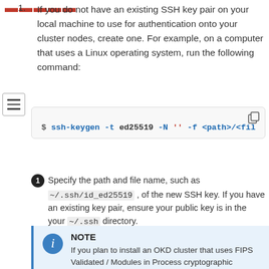If you do not have an existing SSH key pair on your local machine to use for authentication onto your cluster nodes, create one. For example, on a computer that uses a Linux operating system, run the following command:
$ ssh-keygen -t ed25519 -N '' -f <path>/<fil
Specify the path and file name, such as ~/.ssh/id_ed25519 , of the new SSH key. If you have an existing key pair, ensure your public key is in the your ~/.ssh directory.
NOTE
If you plan to install an OKD cluster that uses FIPS Validated / Modules in Process cryptographic libraries on the x86_64